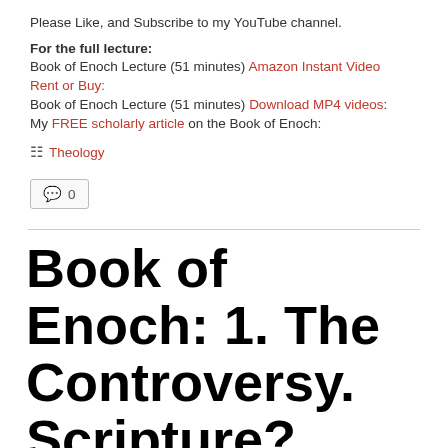Please Like, and Subscribe to my YouTube channel.
For the full lecture: Book of Enoch Lecture (51 minutes) Amazon Instant Video Rent or Buy: Book of Enoch Lecture (51 minutes) Download MP4 videos: My FREE scholarly article on the Book of Enoch:
Theology
0
Book of Enoch: 1. The Controversy. Scripture? Heresy? Or What?